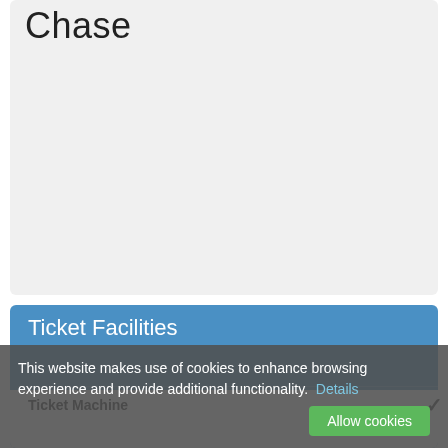Chase
[Figure (other): Gray placeholder card area for Chase venue]
Ticket Facilities
Ticket Machine ✓
This website makes use of cookies to enhance browsing experience and provide additional functionality. Details
Allow cookies